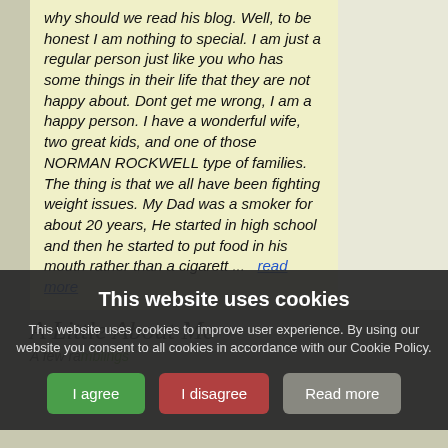why should we read his blog. Well, to be honest I am nothing to special. I am just a regular person just like you who has some things in their life that they are not happy about. Dont get me wrong, I am a happy person. I have a wonderful wife, two great kids, and one of those NORMAN ROCKWELL type of families. The thing is that we all have been fighting weight issues. My Dad was a smoker for about 20 years, He started in high school and then he started to put food in his mouth rather than a cigarett ...   read more
A Little About Me
A few ramblings
This website uses cookies
This website uses cookies to improve user experience. By using our website you consent to all cookies in accordance with our Cookie Policy.